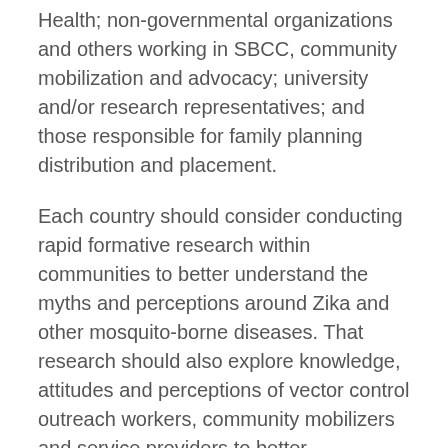Health; non-governmental organizations and others working in SBCC, community mobilization and advocacy; university and/or research representatives; and those responsible for family planning distribution and placement.
Each country should consider conducting rapid formative research within communities to better understand the myths and perceptions around Zika and other mosquito-borne diseases. That research should also explore knowledge, attitudes and perceptions of vector control outreach workers, community mobilizers and service providers to better incorporate them as both a target audience and message disseminators in Zika communication activities.
Messaging around Zika should focus on controlling breeding sites for Aedes aegypti; the